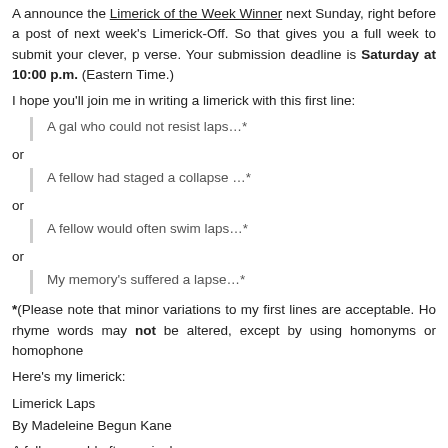A announce the Limerick of the Week Winner next Sunday, right before a post of next week's Limerick-Off. So that gives you a full week to submit your clever, perfectly metered verse. Your submission deadline is Saturday at 10:00 p.m. (Eastern Time.)
I hope you'll join me in writing a limerick with this first line:
A gal who could not resist laps…*
or
A fellow had staged a collapse …*
or
A fellow would often swim laps…*
or
My memory's suffered a lapse…*
*(Please note that minor variations to my first lines are acceptable. However, the rhyme words may not be altered, except by using homonyms or homophones.
Here's my limerick:
Limerick Laps
By Madeleine Begun Kane
A fellow would often swim laps
While asleep, in the midst of his naps.